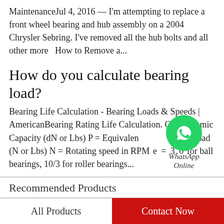MaintenanceJul 4, 2016 — I'm attempting to replace a front wheel bearing and hub assembly on a 2004 Chrysler Sebring. I've removed all the hub bolts and all other more  How to Remove a...
How do you calculate bearing load?
Bearing Life Calculation - Bearing Loads & Speeds | AmericanBearing Rating Life Calculation. C = Dynamic Capacity (dN or Lbs) P = Equivalent Bearing Load (N or Lbs) N = Rotating speed in RPM e = 3.0 for ball bearings, 10/3 for roller bearings...
[Figure (logo): WhatsApp green circle logo with phone icon, labeled 'WhatsApp Online' in italic text]
Recommended Products
[Figure (photo): Two product images side by side, partially visible, showing circular bearing components on light background]
All Products
Contact Now